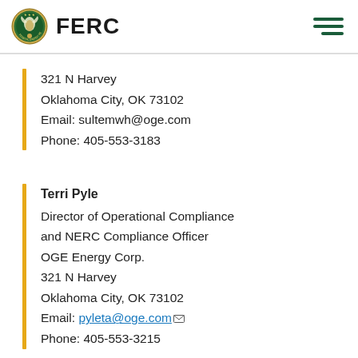FERC
321 N Harvey
Oklahoma City, OK 73102
Email: sultemwh@oge.com
Phone: 405-553-3183
Terri Pyle
Director of Operational Compliance and NERC Compliance Officer
OGE Energy Corp.
321 N Harvey
Oklahoma City, OK 73102
Email: pyleta@oge.com
Phone: 405-553-3215